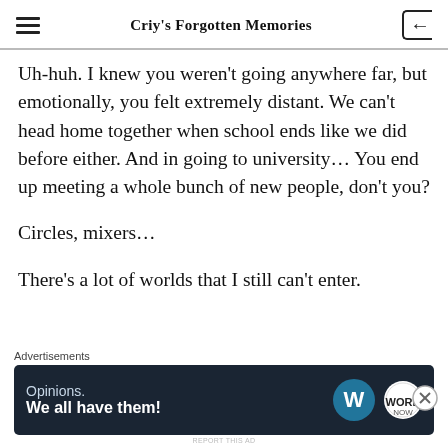Criy's Forgotten Memories
Uh-huh. I knew you weren't going anywhere far, but emotionally, you felt extremely distant. We can't head home together when school ends like we did before either. And in going to university… You end up meeting a whole bunch of new people, don't you?
Circles, mixers…
There's a lot of worlds that I still can't enter.
[Figure (infographic): Advertisement banner with dark navy background. Left side reads 'Opinions. We all have them!' Right side shows WordPress logo (W in circle) and another circular logo.]
Advertisements